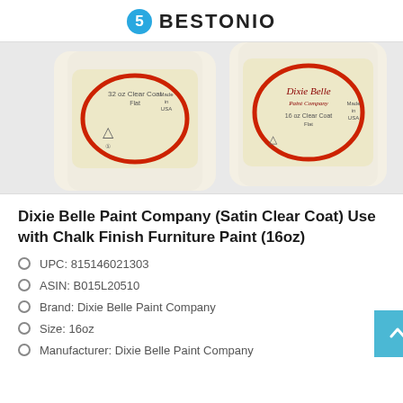BESTONIO
[Figure (photo): Two Dixie Belle Paint Company Clear Coat Flat bottles (32oz and 16oz), white plastic containers with yellow and red circular labels, made in USA, shown from front on white background.]
Dixie Belle Paint Company (Satin Clear Coat) Use with Chalk Finish Furniture Paint (16oz)
UPC: 815146021303
ASIN: B015L20510
Brand: Dixie Belle Paint Company
Size: 16oz
Manufacturer: Dixie Belle Paint Company